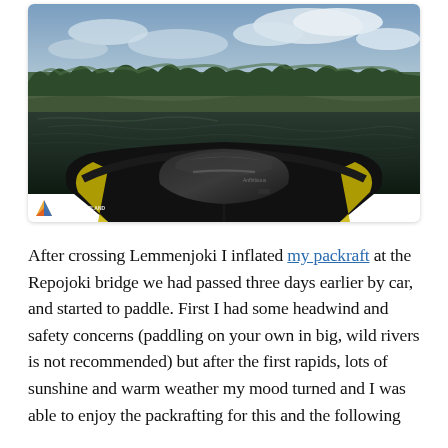[Figure (photo): View from inside a black packraft on a dark river, looking forward over the bow with a black dry bag strapped on front. River banks lined with birch trees and scrubby vegetation under a cloudy sky. A small colorful logo watermark in the bottom-left corner reads 'HIKING IN LAPLAND'.]
After crossing Lemmenjoki I inflated my packraft at the Repojoki bridge we had passed three days earlier by car, and started to paddle. First I had some headwind and safety concerns (paddling on your own in big, wild rivers is not recommended) but after the first rapids, lots of sunshine and warm weather my mood turned and I was able to enjoy the packrafting for this and the following